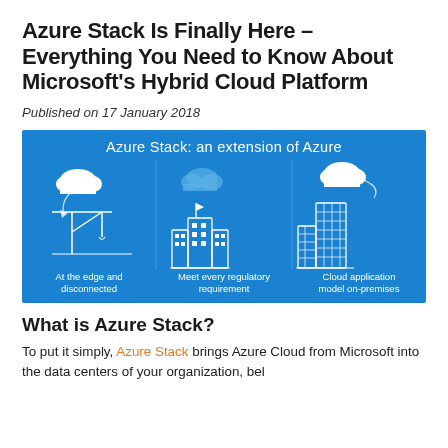Azure Stack Is Finally Here – Everything You Need to Know About Microsoft's Hybrid Cloud Platform
Published on 17 January 2018
[Figure (infographic): Azure Stack: an extension of Azure. Three illustrated icons on blue background: 1) Industrial crane and cloud arrow - 'At the edge and disconnected'; 2) City buildings and cloud - 'Meet every regulatory requirement'; 3) Office tower and cloud - 'Cloud application model on-premises']
What is Azure Stack?
To put it simply, Azure Stack brings Azure Cloud from Microsoft into the data centers of your organization, bel